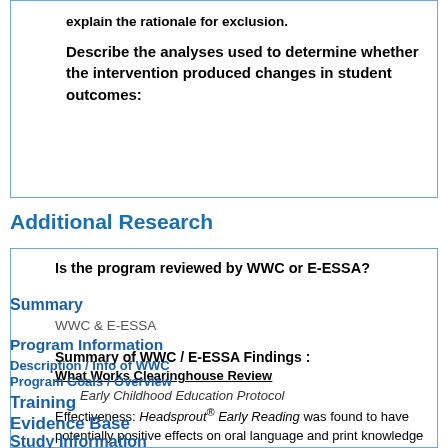explain the rationale for exclusion.
Describe the analyses used to determine whether the intervention produced changes in student outcomes:
Additional Research
Is the program reviewed by WWC or E-ESSA?
WWC & E-ESSA
Summary of WWC / E-ESSA Findings :
What Works Clearinghouse Review
Early Childhood Education Protocol
Effectiveness: Headsprout® Early Reading was found to have potentially positive effects on oral language and print knowledge